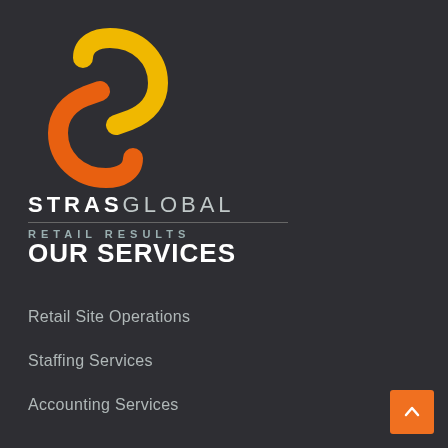[Figure (logo): StrasGlobal logo: stylized S shape made of two curved arcs, upper arc in yellow-gold, lower arc in orange, forming an interlocking S symbol]
STRASGLOBAL RETAIL RESULTS
OUR SERVICES
Retail Site Operations
Staffing Services
Accounting Services